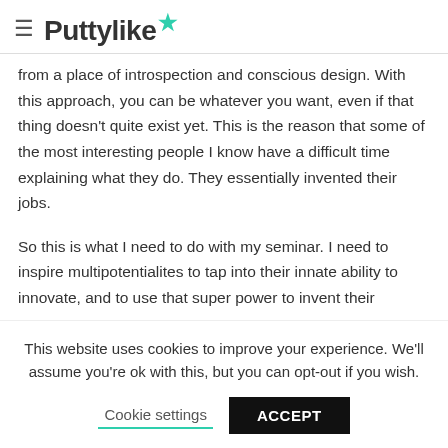≡ Puttylike★
from a place of introspection and conscious design. With this approach, you can be whatever you want, even if that thing doesn't quite exist yet. This is the reason that some of the most interesting people I know have a difficult time explaining what they do. They essentially invented their jobs.
So this is what I need to do with my seminar. I need to inspire multipotentialites to tap into their innate ability to innovate, and to use that super power to invent their
This website uses cookies to improve your experience. We'll assume you're ok with this, but you can opt-out if you wish.
Cookie settings    ACCEPT